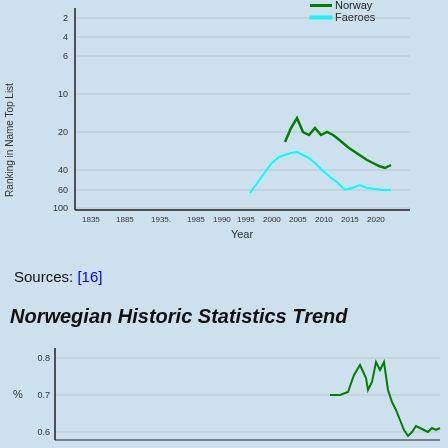[Figure (line-chart): Ranking in Name Top List vs Year]
Sources: [16]
Norwegian Historic Statistics Trend
[Figure (line-chart): Partial view of a line chart showing percentage trend over time, with y-axis values 0.6, 0.7, 0.8 visible and a green line showing fluctuation.]